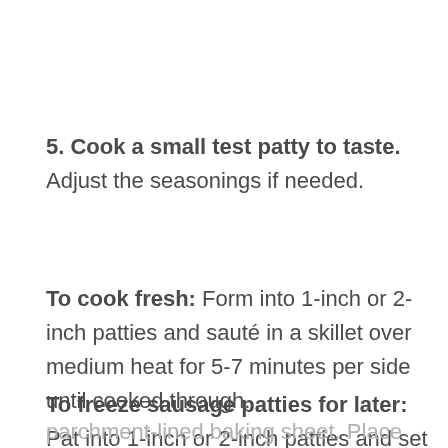5. Cook a small test patty to taste. Adjust the seasonings if needed.
To cook fresh: Form into 1-inch or 2-inch patties and sauté in a skillet over medium heat for 5-7 minutes per side until cooked through.
To freeze sausage patties for later: Pat into 1-inch or 2-inch patties and set them on a parchment-lined baking sheet. Place the baking